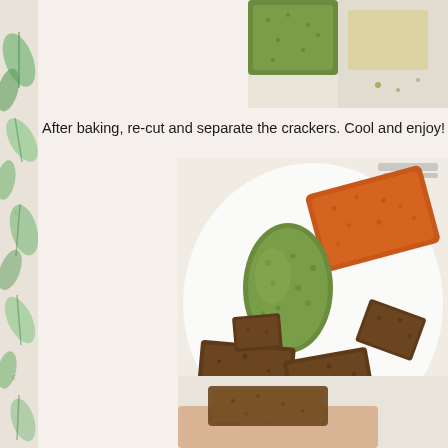[Figure (photo): Partial view of green herb crackers on a light surface, top-right corner of page]
After baking, re-cut and separate the crackers. Cool and enjoy! Store
[Figure (photo): Plate with colorful crackers: green herb log, orange/red cracker piece, and several dark brown square crackers scattered on a white plate]
[Figure (photo): Hand holding a cracker, partially visible at bottom of page]